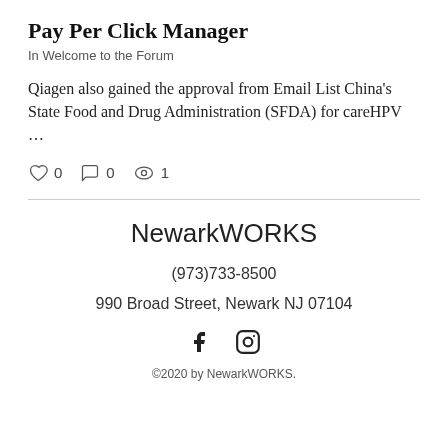Pay Per Click Manager
In Welcome to the Forum
Qiagen also gained the approval from Email List China's State Food and Drug Administration (SFDA) for careHPV …
♡ 0   ☐ 0   👁 1
NewarkWORKS
(973)733-8500
990 Broad Street, Newark NJ 07104
[Figure (logo): Facebook and Instagram social icons]
©2020 by NewarkWORKS.